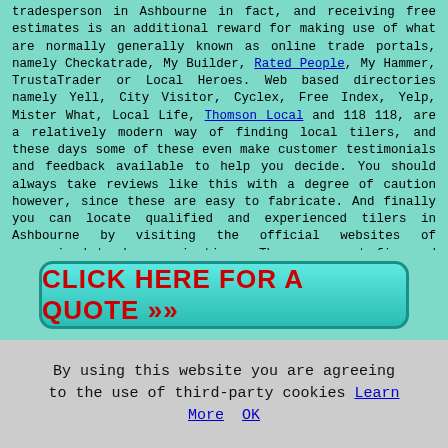tradesperson in Ashbourne in fact, and receiving free estimates is an additional reward for making use of what are normally generally known as online trade portals, namely Checkatrade, My Builder, Rated People, My Hammer, TrustaTrader or Local Heroes. Web based directories namely Yell, City Visitor, Cyclex, Free Index, Yelp, Mister What, Local Life, Thomson Local and 118 118, are a relatively modern way of finding local tilers, and these days some of these even make customer testimonials and feedback available to help you decide. You should always take reviews like this with a degree of caution however, since these are easy to fabricate. And finally you can locate qualified and experienced tilers in Ashbourne by visiting the official websites of recognised trade organizations. The government financed Trustmark is an effective spot to track down recommended floor and wall tilers and they accept only the very best quality tradesmen.A forum is where you should head for should you have queries concerning tiling.
[Figure (other): A teal/cyan rounded button with bold red text reading 'CLICK HERE FOR A QUOTE >>']
By using this website you are agreeing to the use of third-party cookies Learn More  OK